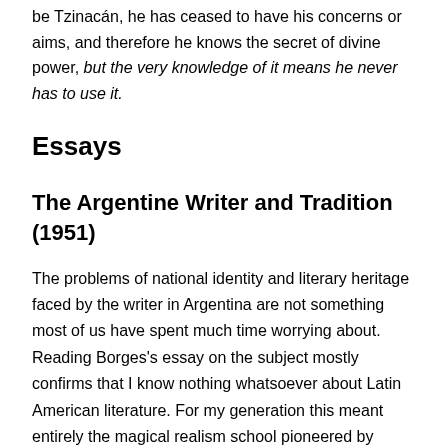be Tzinacán, he has ceased to have his concerns or aims, and therefore he knows the secret of divine power, but the very knowledge of it means he never has to use it.
Essays
The Argentine Writer and Tradition (1951)
The problems of national identity and literary heritage faced by the writer in Argentina are not something most of us have spent much time worrying about. Reading Borges's essay on the subject mostly confirms that I know nothing whatsoever about Latin American literature. For my generation this meant entirely the magical realism school pioneered by Gabriel Garcia Marquez and a cluster of related writers such as Mario Vargas Llosa and,